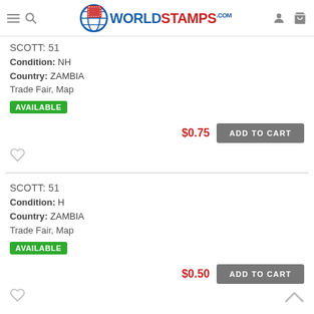WorldStamps.com
SCOTT: 51
Condition: NH
Country: ZAMBIA
Trade Fair, Map
AVAILABLE
$0.75  ADD TO CART
SCOTT: 51
Condition: H
Country: ZAMBIA
Trade Fair, Map
AVAILABLE
$0.50  ADD TO CART